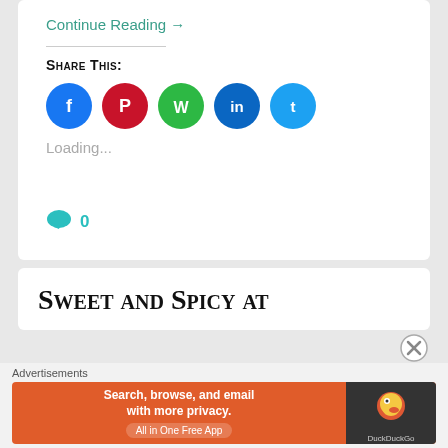Continue Reading →
Share This:
[Figure (infographic): Row of 5 circular social media share buttons: Facebook (blue), Pinterest (red), WhatsApp (green), LinkedIn (dark blue), Twitter (light blue)]
Loading...
0
Sweet and Spicy at
Advertisements
[Figure (infographic): DuckDuckGo advertisement banner: orange background with text 'Search, browse, and email with more privacy. All in One Free App' and DuckDuckGo logo on dark right side]